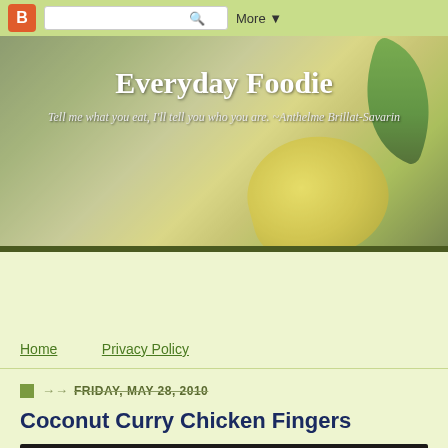Blogger navigation bar with search and More button
[Figure (screenshot): Everyday Foodie blog header banner with site title, tagline, lemon and leaf photograph background]
Everyday Foodie
Tell me what you eat, I'll tell you who you are. ~Anthelme Brillat-Savarin
Home    Privacy Policy
FRIDAY, MAY 28, 2010
Coconut Curry Chicken Fingers
[Figure (photo): Food photograph partially visible at bottom of page]